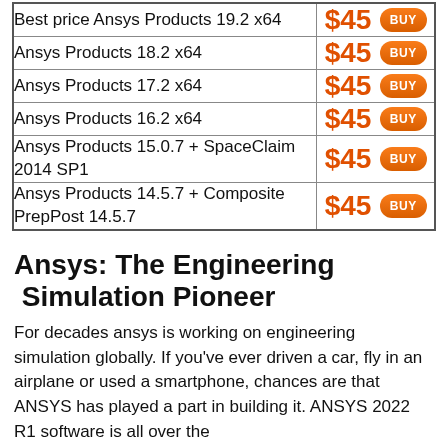| Product | Price |
| --- | --- |
| Best price Ansys Products 19.2 x64 | $45 BUY |
| Ansys Products 18.2 x64 | $45 BUY |
| Ansys Products 17.2 x64 | $45 BUY |
| Ansys Products 16.2 x64 | $45 BUY |
| Ansys Products 15.0.7 + SpaceClaim 2014 SP1 | $45 BUY |
| Ansys Products 14.5.7 + Composite PrepPost 14.5.7 | $45 BUY |
Ansys: The Engineering Simulation Pioneer
For decades ansys is working on engineering simulation globally. If you've ever driven a car, fly in an airplane or used a smartphone, chances are that ANSYS has played a part in building it. ANSYS 2022 R1 software is all over the